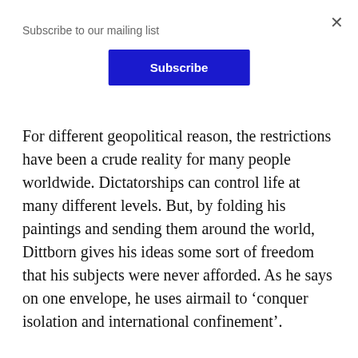Subscribe to our mailing list
[Figure (other): Blue Subscribe button for mailing list overlay]
For different geopolitical reason, the restrictions have been a crude reality for many people worldwide. Dictatorships can control life at many different levels. But, by folding his paintings and sending them around the world, Dittborn gives his ideas some sort of freedom that his subjects were never afforded. As he says on one envelope, he uses airmail to ‘conquer isolation and international confinement’.
And with pandemic, enforced travel